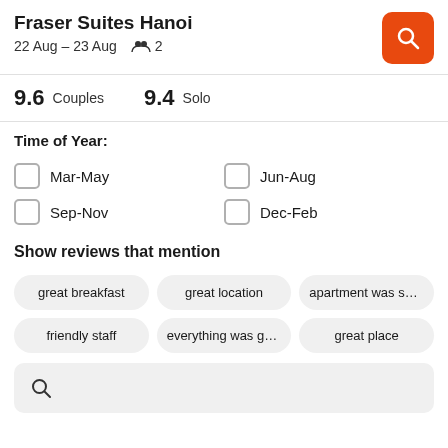Fraser Suites Hanoi
22 Aug – 23 Aug  👥 2
9.6 Couples   9.4 Solo
Time of Year:
Mar-May
Jun-Aug
Sep-Nov
Dec-Feb
Show reviews that mention
great breakfast
great location
apartment was spacio
friendly staff
everything was great
great place